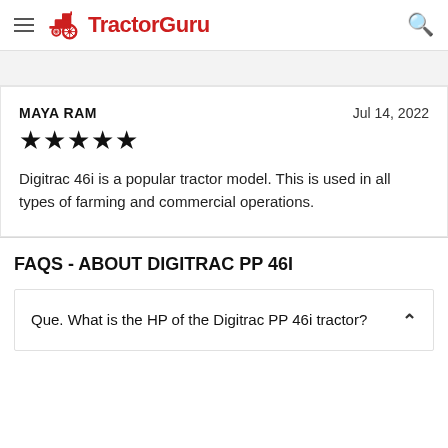TractorGuru
MAYA RAM   Jul 14, 2022
★★★★★
Digitrac 46i is a popular tractor model. This is used in all types of farming and commercial operations.
FAQS - ABOUT DIGITRAC PP 46I
Que. What is the HP of the Digitrac PP 46i tractor?